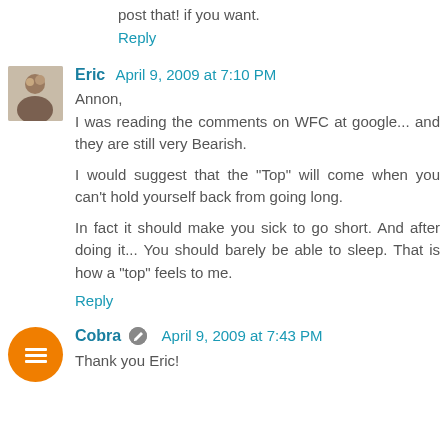post that! if you want.
Reply
Eric  April 9, 2009 at 7:10 PM
Annon,
I was reading the comments on WFC at google... and they are still very Bearish.

I would suggest that the "Top" will come when you can't hold yourself back from going long.

In fact it should make you sick to go short. And after doing it... You should barely be able to sleep. That is how a "top" feels to me.
Reply
Cobra  April 9, 2009 at 7:43 PM
Thank you Eric!